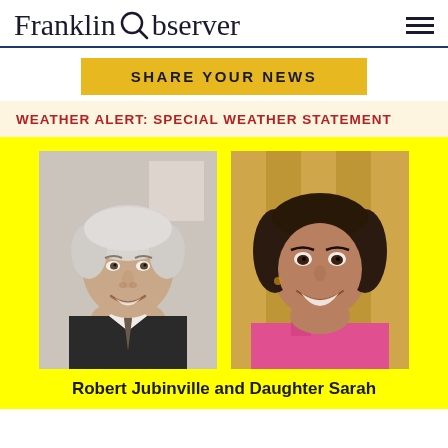Franklin Observer
SHARE YOUR NEWS
WEATHER ALERT: SPECIAL WEATHER STATEMENT
[Figure (photo): Two side-by-side portrait photos of Robert Jubinville (older man with grey hair, dark suit, smiling) and his daughter Sarah (woman with dark hair, pink top, smiling), set against a bright yellow background.]
Robert Jubinville and Daughter Sarah